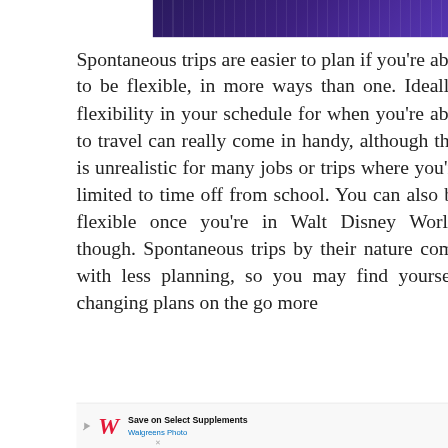[Figure (photo): Partial photo showing dark purple/blue architectural interior, partially cropped at top]
Spontaneous trips are easier to plan if you’re able to be flexible, in more ways than one. Ideally, flexibility in your schedule for when you’re able to travel can really come in handy, although this is unrealistic for many jobs or trips where you’re limited to time off from school. You can also be flexible once you’re in Walt Disney World, though. Spontaneous trips by their nature come with less planning, so you may find yourself changing plans on the go more
[Figure (advertisement): Walgreens Photo advertisement banner: Save on Select Supplements, Walgreens Photo, with red W logo and blue diamond arrow icon]